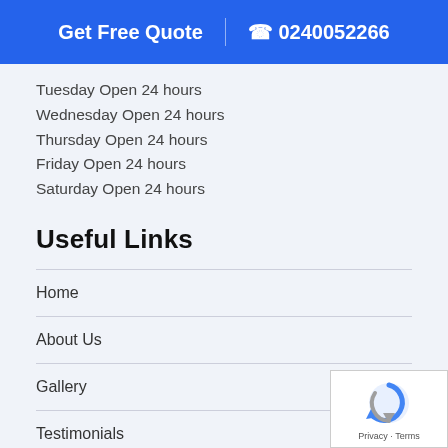Get Free Quote | 0240052266
Tuesday Open 24 hours
Wednesday Open 24 hours
Thursday Open 24 hours
Friday Open 24 hours
Saturday Open 24 hours
Useful Links
Home
About Us
Gallery
Testimonials
FAQs
Contact Us
[Figure (logo): reCAPTCHA badge with Privacy and Terms text]